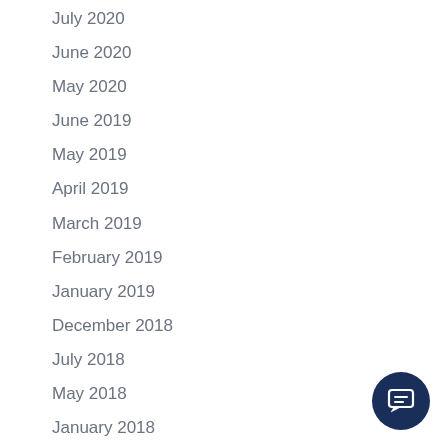July 2020
June 2020
May 2020
June 2019
May 2019
April 2019
March 2019
February 2019
January 2019
December 2018
July 2018
May 2018
January 2018